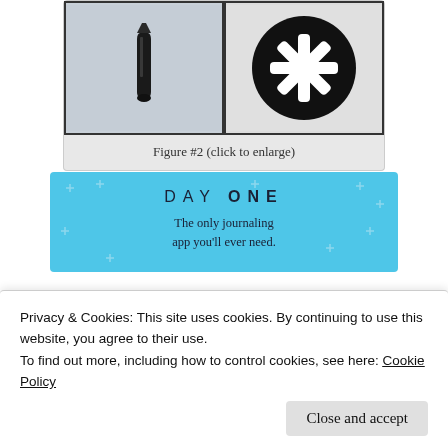[Figure (photo): Two side-by-side images: left shows a small dark cylindrical/conical screw bit on a light speckled surface; right shows a black circle with a white asterisk/star-shaped Phillips-style screwdriver symbol inside it.]
Figure #2 (click to enlarge)
[Figure (illustration): Advertisement banner for Day One journaling app. Blue background with scattered plus/cross decorative marks. Text: 'DAY ONE - The only journaling app you'll ever need.']
Privacy & Cookies: This site uses cookies. By continuing to use this website, you agree to their use.
To find out more, including how to control cookies, see here: Cookie Policy
Close and accept